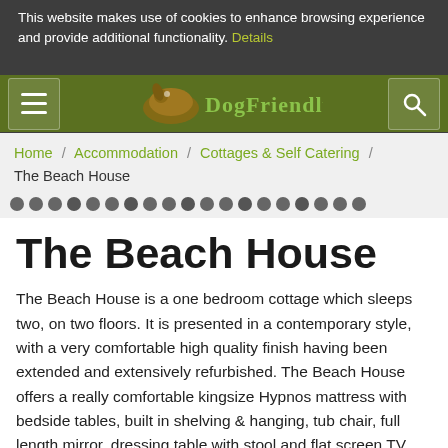This website makes use of cookies to enhance browsing experience and provide additional functionality. Details | Allow cookies
[Figure (logo): DogFriendly logo with dog illustration and green text]
Home / Accommodation / Cottages & Self Catering / The Beach House
[Figure (other): Row of grey navigation dots/carousel indicators]
The Beach House
The Beach House is a one bedroom cottage which sleeps two, on two floors. It is presented in a contemporary style, with a very comfortable high quality finish having been extended and extensively refurbished. The Beach House offers a really comfortable kingsize Hypnos mattress with bedside tables, built in shelving & hanging, tub chair, full length mirror, dressing table with stool and flat screen TV. There is plenty of light with a huge double